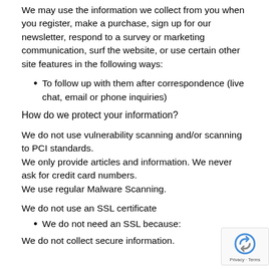We may use the information we collect from you when you register, make a purchase, sign up for our newsletter, respond to a survey or marketing communication, surf the website, or use certain other site features in the following ways:
To follow up with them after correspondence (live chat, email or phone inquiries)
How do we protect your information?
We do not use vulnerability scanning and/or scanning to PCI standards.
We only provide articles and information. We never ask for credit card numbers.
We use regular Malware Scanning.
We do not use an SSL certificate
We do not need an SSL because:
We do not collect secure information.